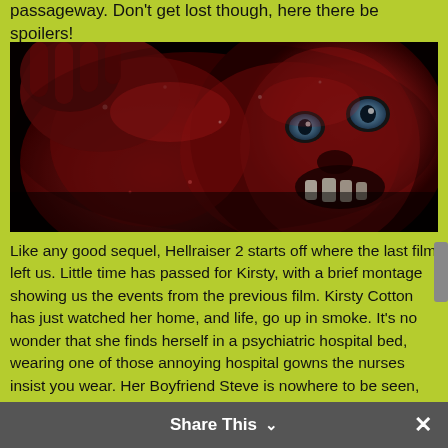passageway. Don't get lost though, here there be spoilers!
[Figure (photo): Close-up horror movie still from Hellraiser 2 showing a grotesque skinless face with wide blue eyes against a dark background, covered in red flesh and sinew.]
Like any good sequel, Hellraiser 2 starts off where the last film left us. Little time has passed for Kirsty, with a brief montage showing us the events from the previous film. Kirsty Cotton has just watched her home, and life, go up in smoke. It's no wonder that she finds herself in a psychiatric hospital bed, wearing one of those annoying hospital gowns the nurses insist you wear. Her Boyfriend Steve is nowhere to be seen, nor will we, as he is written out of the series with a couple of lines of dialogue, leaving Kirsty and us, alone with the horror! And the horror comes
Share This ∨  ✕